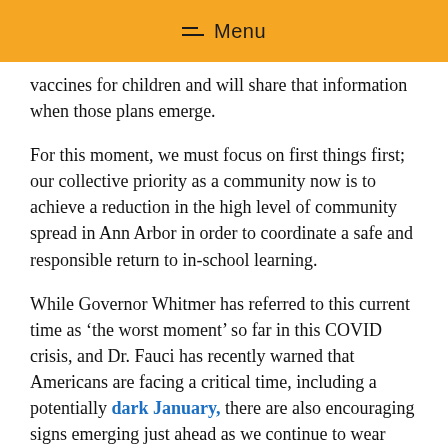Menu
vaccines for children and will share that information when those plans emerge.
For this moment, we must focus on first things first; our collective priority as a community now is to achieve a reduction in the high level of community spread in Ann Arbor in order to coordinate a safe and responsible return to in-school learning.
While Governor Whitmer has referred to this current time as ‘the worst moment’ so far in this COVID crisis, and Dr. Fauci has recently warned that Americans are facing a critical time, including a potentially dark January, there are also encouraging signs emerging just ahead as we continue to wear masks, practice social distancing, work together to reduce rates of community spread and monitor the progress with